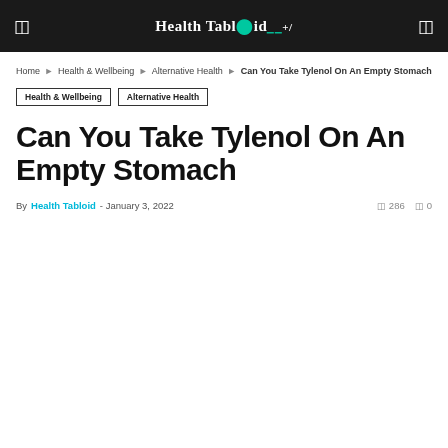Health Tabloid
Home > Health & Wellbeing > Alternative Health > Can You Take Tylenol On An Empty Stomach
Health & Wellbeing
Alternative Health
Can You Take Tylenol On An Empty Stomach
By Health Tabloid - January 3, 2022   286   0